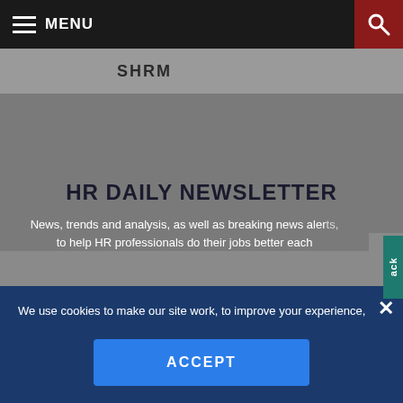MENU
[Figure (screenshot): SHRM website header with dark navigation bar showing hamburger menu icon and MENU text on left, search icon on dark red background on right]
SHRM
HR DAILY NEWSLETTER
News, trends and analysis, as well as breaking news alerts, to help HR professionals do their jobs better each
We use cookies to make our site work, to improve your experience, and we use our own, and third-party cookies, for advertising. Please see our Cookie Policy for more information and how to disable them. By clicking accept, or closing the message and continuing to use this site, you agree to our use of cookies.
ACCEPT